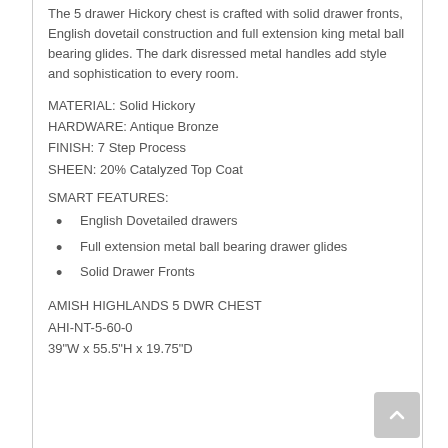The 5 drawer Hickory chest is crafted with solid drawer fronts, English dovetail construction and full extension king metal ball bearing glides. The dark disressed metal handles add style and sophistication to every room.
MATERIAL: Solid Hickory
HARDWARE: Antique Bronze
FINISH: 7 Step Process
SHEEN: 20% Catalyzed Top Coat
SMART FEATURES:
English Dovetailed drawers
Full extension metal ball bearing drawer glides
Solid Drawer Fronts
AMISH HIGHLANDS 5 DWR CHEST
AHI-NT-5-60-0
39"W x 55.5"H x 19.75"D